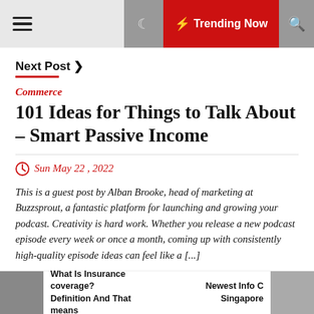Trending Now
Next Post >
Commerce
101 Ideas for Things to Talk About – Smart Passive Income
Sun May 22 , 2022
This is a guest post by Alban Brooke, head of marketing at Buzzsprout, a fantastic platform for launching and growing your podcast. Creativity is hard work. Whether you release a new podcast episode every week or once a month, coming up with consistently high-quality episode ideas can feel like a [...]
What Is Insurance coverage? Definition And That means | Newest Info C Singapore